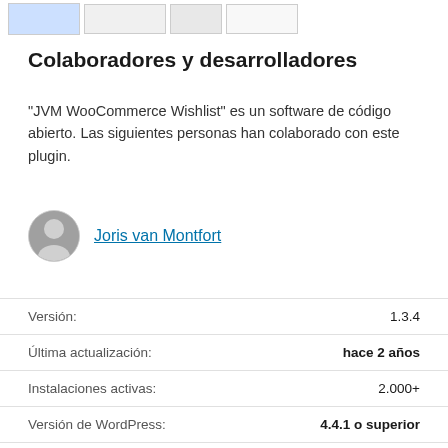[Figure (screenshot): Thumbnail screenshots of plugin at top of page]
Colaboradores y desarrolladores
"JVM WooCommerce Wishlist" es un software de código abierto. Las siguientes personas han colaborado con este plugin.
Joris van Montfort
| Label | Value |
| --- | --- |
| Versión: | 1.3.4 |
| Última actualización: | hace 2 años |
| Instalaciones activas: | 2.000+ |
| Versión de WordPress: | 4.4.1 o superior |
| Probado hasta: | 5.4.10 |